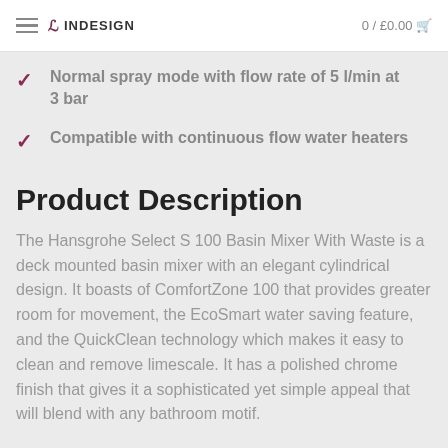ID INDESIGN  0 / £0.00
Normal spray mode with flow rate of 5 l/min at 3 bar
Compatible with continuous flow water heaters
Product Description
The Hansgrohe Select S 100 Basin Mixer With Waste is a deck mounted basin mixer with an elegant cylindrical design. It boasts of ComfortZone 100 that provides greater room for movement, the EcoSmart water saving feature, and the QuickClean technology which makes it easy to clean and remove limescale. It has a polished chrome finish that gives it a sophisticated yet simple appeal that will blend with any bathroom motif.